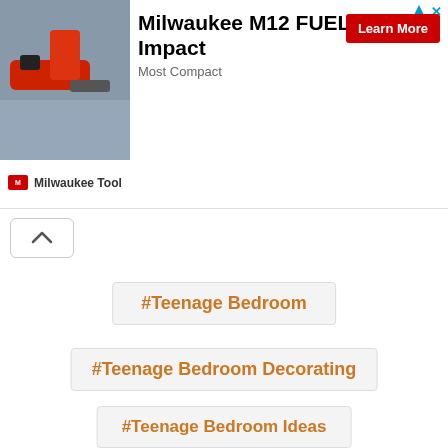[Figure (photo): Advertisement banner for Milwaukee M12 FUEL 1/4 Impact driver. Shows product photo on left, title text, Learn More button, and Milwaukee Tool logo.]
#Teenage Bedroom
#Teenage Bedroom Decorating
#Teenage Bedroom Ideas
[Figure (screenshot): Social share buttons row: Facebook, Twitter, Pinterest with 646 count, and total 646 shares]